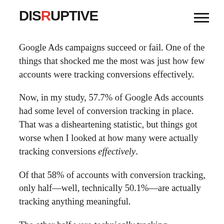DISRUPTIVE
Google Ads campaigns succeed or fail. One of the things that shocked me the most was just how few accounts were tracking conversions effectively.
Now, in my study, 57.7% of Google Ads accounts had some level of conversion tracking in place. That was a disheartening statistic, but things got worse when I looked at how many were actually tracking conversions effectively.
Of that 58% of accounts with conversion tracking, only half—well, technically 50.1%—are actually tracking anything meaningful.
The other half were technically tracking conversions, but their setup was so poor that they might as well not be tracking anything at all.